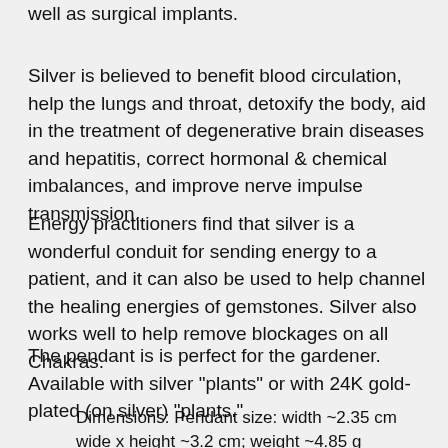well as surgical implants.
Silver is believed to benefit blood circulation, help the lungs and throat, detoxify the body, aid in the treatment of degenerative brain diseases and hepatitis, correct hormonal & chemical imbalances, and improve nerve impulse transmission.
Energy practitioners find that silver is a wonderful conduit for sending energy to a patient, and it can also be used to help channel the healing energies of gemstones. Silver also works well to help remove blockages on all Chakras.
The pendant is is perfect for the gardener. Available with silver "plants" or with 24K gold-plated (on silver) "plants."
Dimensions: Pendant size: width ~2.35 cm wide x height ~3.2 cm; weight ~4.85 g